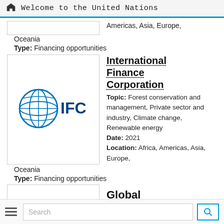Welcome to the United Nations
Americas, Asia, Europe, Oceania
Type: Financing opportunities
[Figure (logo): IFC (International Finance Corporation) logo with globe icon and IFC text in blue]
International Finance Corporation
Topic: Forest conservation and management, Private sector and industry, Climate change, Renewable energy
Date: 2021
Location: Africa, Americas, Asia, Europe, Oceania
Type: Financing opportunities
Oceania
Type: Financing opportunities
Global
Search